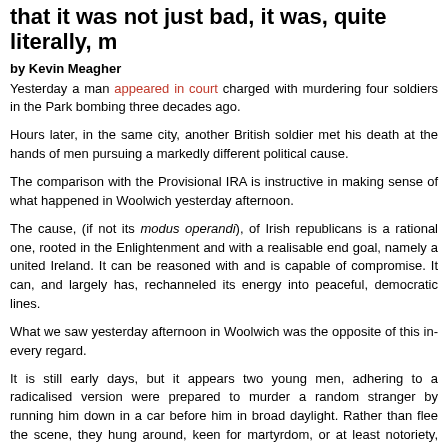that it was not just bad, it was, quite literally, m
by Kevin Meagher
Yesterday a man appeared in court charged with murdering four soldiers in the Park bombing three decades ago.
Hours later, in the same city, another British soldier met his death at the hands of men pursuing a markedly different political cause.
The comparison with the Provisional IRA is instructive in making sense of what happened in Woolwich yesterday afternoon.
The cause, (if not its modus operandi), of Irish republicans is a rational one, rooted in the Enlightenment and with a realisable end goal, namely a united Ireland. It can be reasoned with and is capable of compromise. It can, and largely has, rechanneled its energy into peaceful, democratic lines.
What we saw yesterday afternoon in Woolwich was the opposite of this in every regard.
It is still early days, but it appears two young men, adhering to a radicalised version were prepared to murder a random stranger by running him down in a car before him in broad daylight. Rather than flee the scene, they hung around, keen for martyrdom, or at least notoriety, courtesy of YouTube.
It is now customary to say the perpetrators of these attacks have been 'radicalised' – the nebulous term always used to describe the process of indoctrination that leads muslims to these fanatical extremes.